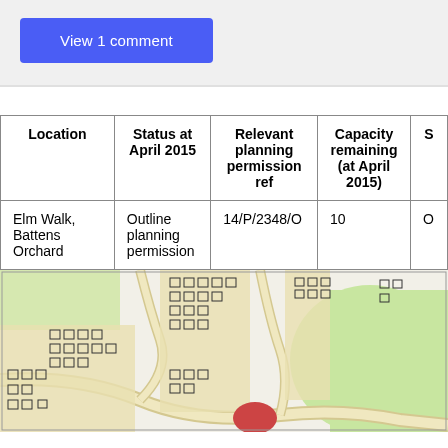View 1 comment
| Location | Status at April 2015 | Relevant planning permission ref | Capacity remaining (at April 2015) | S |
| --- | --- | --- | --- | --- |
| Elm Walk, Battens Orchard | Outline planning permission | 14/P/2348/O | 10 | O |
[Figure (map): Ordnance Survey map showing residential area with housing plots, roads, and green spaces. Houses shown as small square/rectangular outlines in a planned development. Green areas visible on right side.]